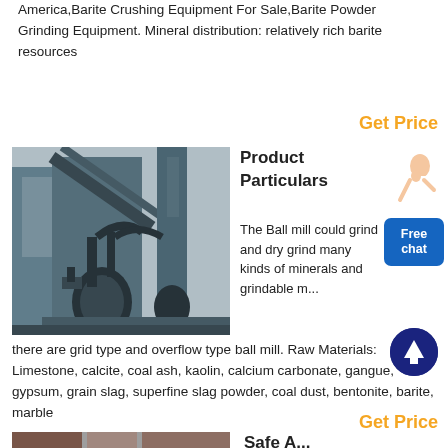America,Barite Crushing Equipment For Sale,Barite Powder Grinding Equipment. Mineral distribution: relatively rich barite resources
Get Price
[Figure (photo): Industrial ball mill / grinding equipment facility exterior with large machinery and conveyor structures]
Product Particulars
The Ball mill could grind and dry grind many kinds of minerals and grindable materials, according to different ore discharge methods there are grid type and overflow type ball mill. Raw Materials: Limestone, calcite, coal ash, kaolin, calcium carbonate, gangue, gypsum, grain slag, superfine slag powder, coal dust, bentonite, barite, marble
Get Price
[Figure (photo): Partial view of another industrial equipment or material at bottom of page]
Safe A...